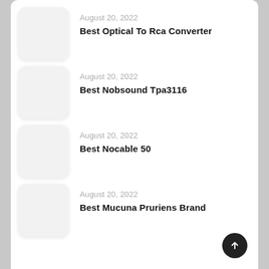August 20, 2022 — Best Optical To Rca Converter
August 20, 2022 — Best Nobsound Tpa3116
August 20, 2022 — Best Nocable 50
August 20, 2022 — Best Mucuna Pruriens Brand